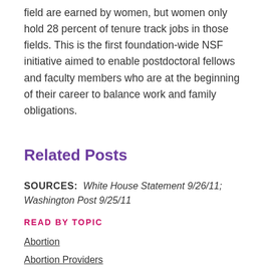field are earned by women, but women only hold 28 percent of tenure track jobs in those fields. This is the first foundation-wide NSF initiative aimed to enable postdoctoral fellows and faculty members who are at the beginning of their career to balance work and family obligations.
Related Posts
SOURCES:  White House Statement 9/26/11; Washington Post 9/25/11
READ BY TOPIC
Abortion
Abortion Providers
Activism